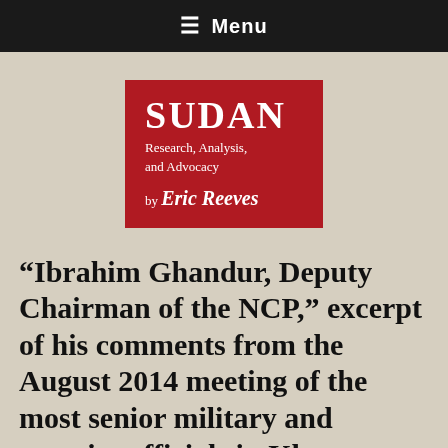≡ Menu
[Figure (logo): Sudan Research, Analysis, and Advocacy by Eric Reeves — red square logo with white text]
“Ibrahim Ghandur, Deputy Chairman of the NCP,” excerpt of his comments from the August 2014 meeting of the most senior military and security officials in Khartoum